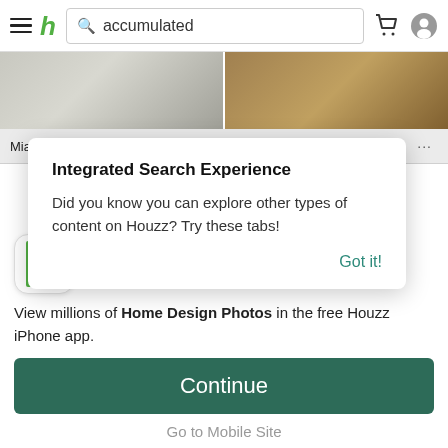Houzz app header with hamburger menu, Houzz logo, search bar with 'accumulated', cart and profile icons
[Figure (photo): Two photo thumbnails side by side: left is a light-colored room interior, right is a kitchen scene]
Miami North Beach ... Kitchen Transformation ...
Integrated Search Experience
Did you know you can explore other types of content on Houzz? Try these tabs!
Got it!
[Figure (logo): Houzz green H logo icon]
Houzz Interior Design Ideas
★★★★★ 300K Reviews
View millions of Home Design Photos in the free Houzz iPhone app.
Continue
Go to Mobile Site